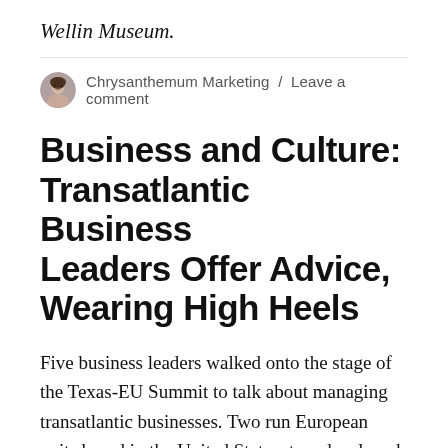Wellin Museum.
Chrysanthemum Marketing / Leave a comment
Business and Culture: Transatlantic Business Leaders Offer Advice, Wearing High Heels
Five business leaders walked onto the stage of the Texas-EU Summit to talk about managing transatlantic businesses. Two run European units based in the United States; two developed European units of U.S. practices; and one has done it all. Four wore stilettos They didn't have